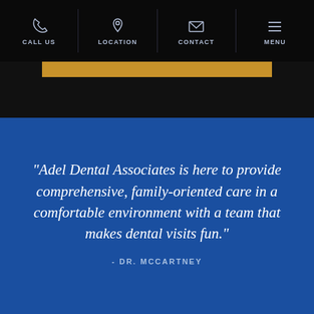CALL US | LOCATION | CONTACT | MENU
“Adel Dental Associates is here to provide comprehensive, family-oriented care in a comfortable environment with a team that makes dental visits fun.”
- DR. MCCARTNEY